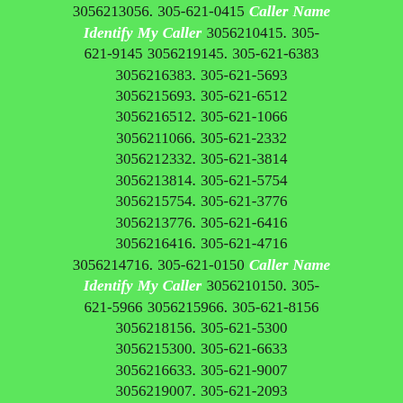3056214097. 305-621-3959 3056213959. 305-621-4040 3056214040. 305-621-3056 3056213056. 305-621-0415 Caller Name Identify My Caller 3056210415. 305-621-9145 3056219145. 305-621-6383 3056216383. 305-621-5693 3056215693. 305-621-6512 3056216512. 305-621-1066 3056211066. 305-621-2332 3056212332. 305-621-3814 3056213814. 305-621-5754 3056215754. 305-621-3776 3056213776. 305-621-6416 3056216416. 305-621-4716 3056214716. 305-621-0150 Caller Name Identify My Caller 3056210150. 305-621-5966 3056215966. 305-621-8156 3056218156. 305-621-5300 3056215300. 305-621-6633 3056216633. 305-621-9007 3056219007. 305-621-2093 3056212093. 305-621-8652 3056218652. 305-621-8074 3056218074. 305-621-3582